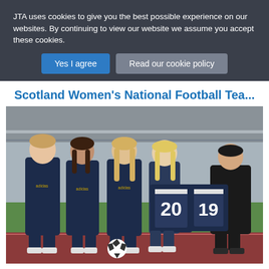JTA uses cookies to give you the best possible experience on our websites. By continuing to view our website we assume you accept these cookies.
Yes I agree | Read our cookie policy
Scotland Women's National Football Tea...
[Figure (photo): Five women posing in a sports stadium. Four are wearing navy Scotland football tracksuits with Adidas logos. Two women on the right are holding up navy football jerseys with numbers 20 and 19. There is a football on the ground in front of them. The stadium pitch and stands are visible in the background.]